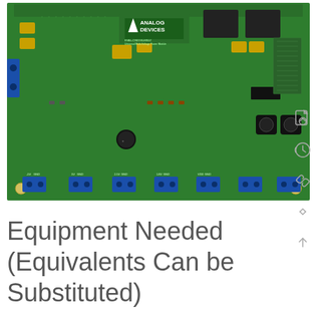[Figure (photo): Photo of an Analog Devices evaluation board (EVAL-CN0190-EBUZ), a green PCB labeled 'Universal Multi-Voltage Power Module' with yellow capacitors, blue terminal connectors, black inductors, and various electronic components. Multiple output terminals are visible at the bottom labeled -5V, GND, 5V, GND, 2.5V, GND, 1.8V, GND, VDD, GND, etc.]
Equipment Needed (Equivalents Can be Substituted)